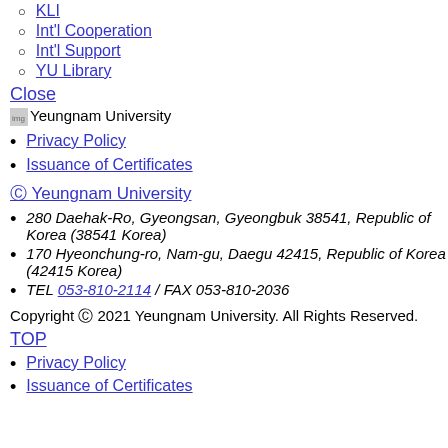KLI
Int'l Cooperation
Int'l Support
YU Library
Close
[Figure (illustration): Yeungnam University logo image]
Privacy Policy
Issuance of Certificates
Ⓒ Yeungnam University
280 Daehak-Ro, Gyeongsan, Gyeongbuk 38541, Republic of Korea (38541 Korea)
170 Hyeonchung-ro, Nam-gu, Daegu 42415, Republic of Korea (42415 Korea)
TEL 053-810-2114 / FAX 053-810-2036
Copyright Ⓒ 2021 Yeungnam University. All Rights Reserved.
TOP
Privacy Policy
Issuance of Certificates